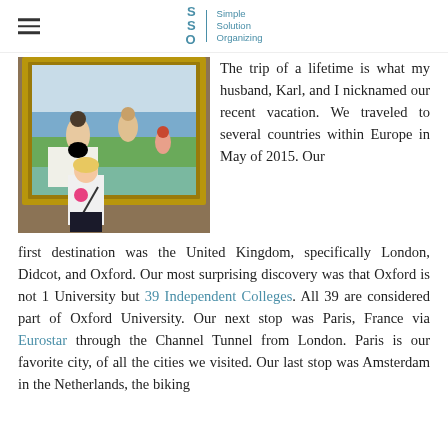Simple Solution Organizing
[Figure (photo): Woman standing in front of a large framed impressionist painting (Seurat's Bathers at Asnières) in a museum gallery.]
The trip of a lifetime is what my husband, Karl, and I nicknamed our recent vacation. We traveled to several countries within Europe in May of 2015. Our first destination was the United Kingdom, specifically London, Didcot, and Oxford. Our most surprising discovery was that Oxford is not 1 University but 39 Independent Colleges. All 39 are considered part of Oxford University. Our next stop was Paris, France via Eurostar through the Channel Tunnel from London. Paris is our favorite city, of all the cities we visited. Our last stop was Amsterdam in the Netherlands, the biking